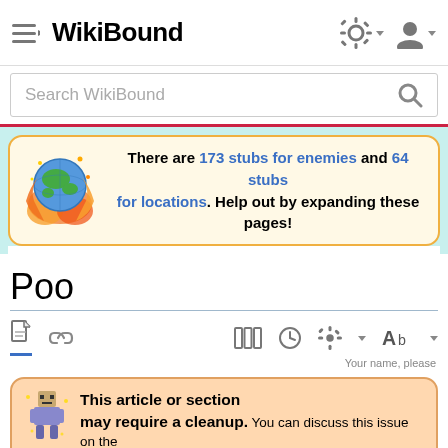WikiBound
Search WikiBound
There are 173 stubs for enemies and 64 stubs for locations. Help out by expanding these pages!
Poo
Your name, please
This article or section may require a cleanup. You can discuss this issue on the